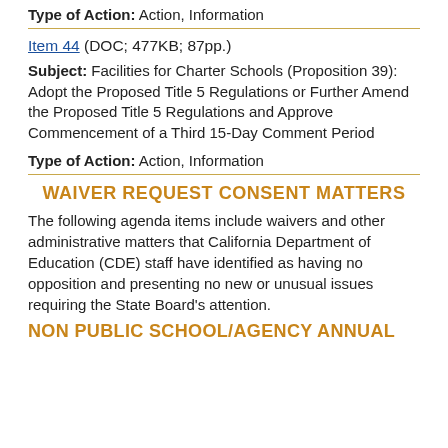Type of Action:  Action, Information
Item 44 (DOC; 477KB; 87pp.)
Subject:  Facilities for Charter Schools (Proposition 39): Adopt the Proposed Title 5 Regulations or Further Amend the Proposed Title 5 Regulations and Approve Commencement of a Third 15-Day Comment Period
Type of Action:  Action, Information
WAIVER REQUEST CONSENT MATTERS
The following agenda items include waivers and other administrative matters that California Department of Education (CDE) staff have identified as having no opposition and presenting no new or unusual issues requiring the State Board’s attention.
NON PUBLIC SCHOOL/AGENCY ANNUAL